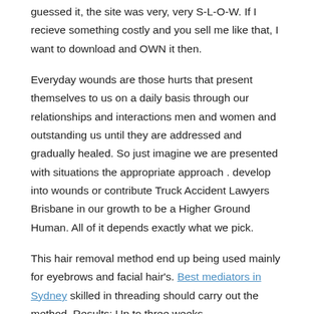guessed it, the site was very, very S-L-O-W. If I recieve something costly and you sell me like that, I want to download and OWN it then.
Everyday wounds are those hurts that present themselves to us on a daily basis through our relationships and interactions men and women and outstanding us until they are addressed and gradually healed. So just imagine we are presented with situations the appropriate approach . develop into wounds or contribute Truck Accident Lawyers Brisbane in our growth to be a Higher Ground Human. All of it depends exactly what we pick.
This hair removal method end up being used mainly for eyebrows and facial hair's. Best mediators in Sydney skilled in threading should carry out the method. Results: Up to three weeks.
The letter “R” would mean Revelation. A person read this today, get yourself a Revelation! It is a personal responsibility.no one else’s. Merely who you are, what your come from, how Go...